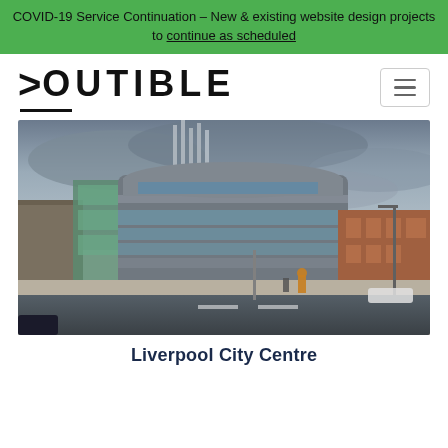COVID-19 Service Continuation – New & existing website design projects to continue as scheduled
[Figure (logo): Outible logo with a right-pointing chevron/arrow symbol before the text OUTIBLE, with an underline beneath the logo]
[Figure (photo): Photograph of Liverpool City Centre showing a large modern curved building with horizontal banding and glass features, alongside a historic brick building, with a cathedral spire visible in the background against a dramatic cloudy sky. Street-level view with pedestrians and a cyclist visible.]
Liverpool City Centre